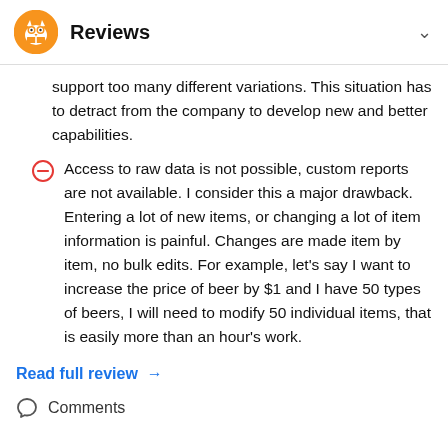Reviews
support too many different variations. This situation has to detract from the company to develop new and better capabilities.
Access to raw data is not possible, custom reports are not available. I consider this a major drawback. Entering a lot of new items, or changing a lot of item information is painful. Changes are made item by item, no bulk edits. For example, let's say I want to increase the price of beer by $1 and I have 50 types of beers, I will need to modify 50 individual items, that is easily more than an hour's work.
Read full review →
Comments